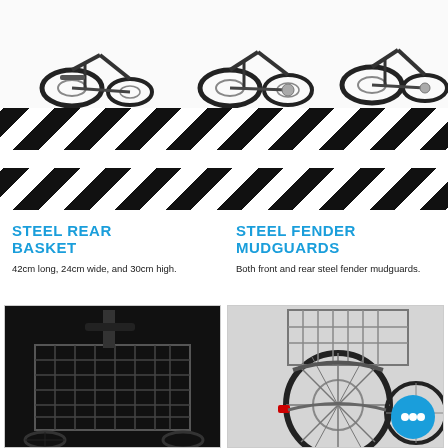[Figure (photo): Three tricycles/adult bikes photographed from the side on white background, showing wheels and frame details]
[Figure (illustration): Black and white diagonal hazard stripe banner]
[Figure (illustration): Black and white diagonal hazard stripe banner (second)]
STEEL REAR BASKET
42cm long, 24cm wide, and 30cm high.
STEEL FENDER MUDGUARDS
Both front and rear steel fender mudguards.
[Figure (photo): Close-up photo of steel wire rear basket on tricycle, dark/black colored wire mesh basket]
[Figure (photo): Photo of tricycle rear showing steel fender mudguards and wire basket, with blue chat bubble icon overlay]